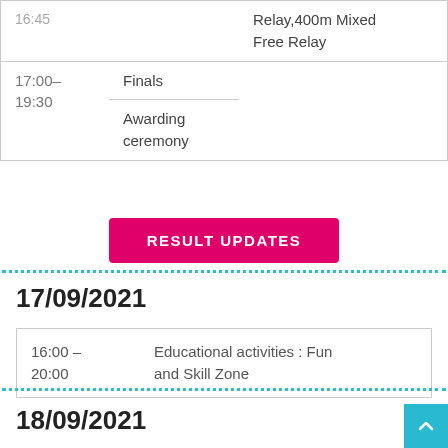| Time | Session | Events |
| --- | --- | --- |
| 16:45 |  | Relay,400m Mixed Free Relay |
| 17:00–19:30 | Finals |  |
| 17:00–19:30 | Awarding ceremony |  |
RESULT UPDATES
17/09/2021
| Time | Activity |
| --- | --- |
| 16:00 – 20:00 | Educational activities :  Fun and Skill Zone |
18/09/2021